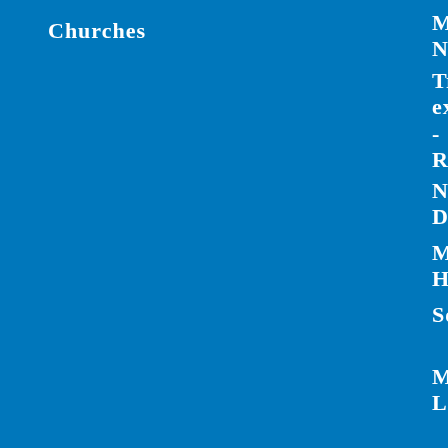Churches
Mykonos News
Travel experiences - Reviews
Name Days
Mykonos History
Services
Mykonos Links
MykonosTour
MykonosTour.com
Search Mykonos
About us
Add Your travel Link
We use cookies on our website. By continuing to browse our website, you agree to our use of cookies. For more information on how we use cookies please read our privacy policy.
Accept
Privacy Policy
Terms of Use